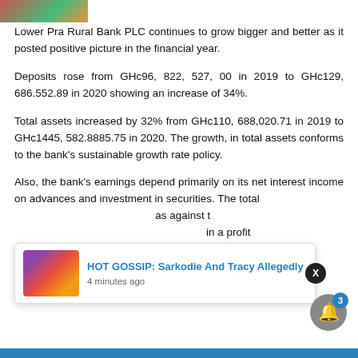[Figure (photo): Partial image visible at top left corner of the page]
Lower Pra Rural Bank PLC continues to grow bigger and better as it posted positive picture in the financial year.
Deposits rose from GHc96, 822, 527, 00 in 2019 to GHc129, 686.552.89 in 2020 showing an increase of 34%.
Total assets increased by 32% from GHc110, 688,020.71 in 2019 to GHc1445, 582.8885.75 in 2020. The growth, in total assets conforms to the bank's sustainable growth rate policy.
Also, the bank's earnings depend primarily on its net interest income on advances and investment in securities. The total [income] as against t[he previous year resulted] in a profit GHc1, 7044,183.49, a fall of 15% over the previous year.